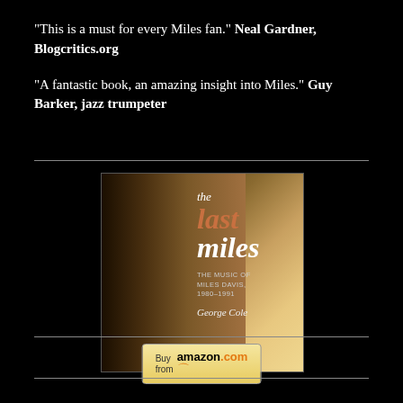"This is a must for every Miles fan." Neal Gardner, Blogcritics.org
"A fantastic book, an amazing insight into Miles." Guy Barker, jazz trumpeter
[Figure (illustration): Book cover of 'The Last Miles: The Music of Miles Davis, 1980-1991' by George Cole, showing Miles Davis playing trumpet]
[Figure (logo): Buy from amazon.com button]